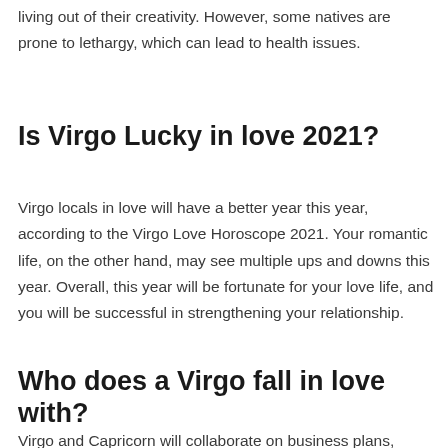living out of their creativity. However, some natives are prone to lethargy, which can lead to health issues.
Is Virgo Lucky in love 2021?
Virgo locals in love will have a better year this year, according to the Virgo Love Horoscope 2021. Your romantic life, on the other hand, may see multiple ups and downs this year. Overall, this year will be fortunate for your love life, and you will be successful in strengthening your relationship.
Who does a Virgo fall in love with?
Virgo and Capricorn will collaborate on business plans,